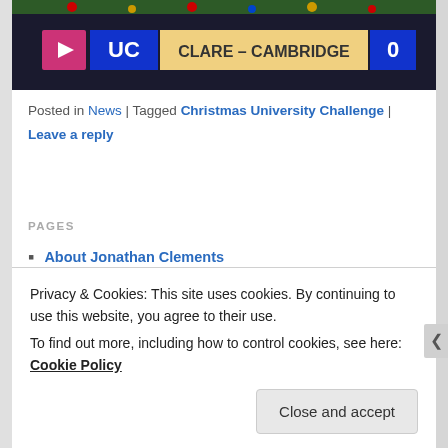[Figure (screenshot): Screenshot of a quiz show scoreboard showing 'UC' vs 'CLARE – CAMBRIDGE' with score 0, with Christmas decorations in background and a play button overlay]
Posted in News | Tagged Christmas University Challenge | Leave a reply
PAGES
About Jonathan Clements
Speaking Engagements
RECENT POSTS
Wicked Women
Privacy & Cookies: This site uses cookies. By continuing to use this website, you agree to their use.
To find out more, including how to control cookies, see here: Cookie Policy